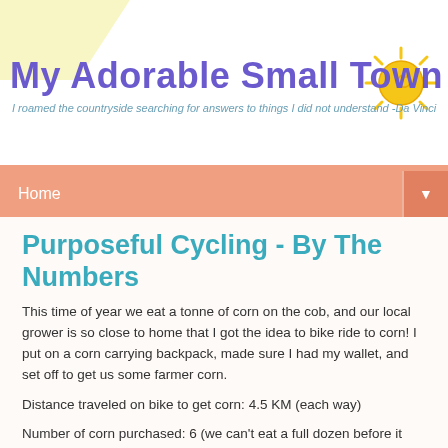My Adorable Small Town Life — I roamed the countryside searching for answers to things I did not understand -Da Vinci
Home ▼
Purposeful Cycling - By The Numbers
This time of year we eat a tonne of corn on the cob, and our local grower is so close to home that I got the idea to bike ride to corn! I put on a corn carrying backpack, made sure I had my wallet, and set off to get us some farmer corn.
Distance traveled on bike to get corn: 4.5 KM (each way)
Number of corn purchased: 6 (we can't eat a full dozen before it goes off)
Cost of 6 corn: $3
Weight of backpack full of corn (as measured on a mostly inaccurate